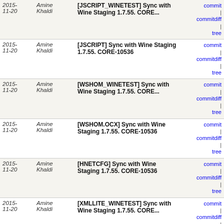| Date | Author | Message | Links |
| --- | --- | --- | --- |
| 2015-11-20 | Amine Khaldi | [JSCRIPT_WINETEST] Sync with Wine Staging 1.7.55. CORE... | commit | commitdiff | tree |
| 2015-11-20 | Amine Khaldi | [JSCRIPT] Sync with Wine Staging 1.7.55. CORE-10536 | commit | commitdiff | tree |
| 2015-11-20 | Amine Khaldi | [WSHOM_WINETEST] Sync with Wine Staging 1.7.55. CORE... | commit | commitdiff | tree |
| 2015-11-20 | Amine Khaldi | [WSHOM.OCX] Sync with Wine Staging 1.7.55. CORE-10536 | commit | commitdiff | tree |
| 2015-11-20 | Amine Khaldi | [HNETCFG] Sync with Wine Staging 1.7.55. CORE-10536 | commit | commitdiff | tree |
| 2015-11-20 | Amine Khaldi | [XMLLITE_WINETEST] Sync with Wine Staging 1.7.55. CORE... | commit | commitdiff | tree |
| 2015-11-20 | Amine Khaldi | [XMLLITE] Sync with Wine Staging 1.7.55. CORE-10536 | commit | commitdiff | tree |
| 2015-11-20 | Amine Khaldi | [BOOTLIB] Use the correct size in BlockIoEfiGetDeviceIn... | commit | commitdiff | tree |
| 2015-11-20 | James Tabor | [Win32k] | commit | commitdiff | tree |
| 2015-11-19 | Sylvain Petreolle | [IPHLPAPI] | commit | commitdiff | tree |
| 2015-11-19 | Robert Naumann | [BROWSEUI] Handle Alt+Up. Patch by Jared Smudde CORE... | commit | commitdiff | tree |
| 2015-11-19 | Amine Khaldi | [EXPLORER] Fix MSVC build. | commit | commitdiff | tree |
| 2015-11-19 | Eric Kohl | [FASTFAT] | commit | commitdiff | tree |